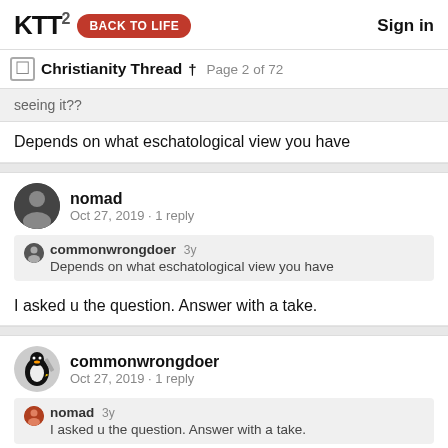KTT2 BACK TO LIFE Sign in
Christianity Thread † Page 2 of 72
seeing it??
Depends on what eschatological view you have
nomad
Oct 27, 2019 · 1 reply
commonwrongdoer 3y
Depends on what eschatological view you have
I asked u the question. Answer with a take.
commonwrongdoer
Oct 27, 2019 · 1 reply
nomad 3y
I asked u the question. Answer with a take.